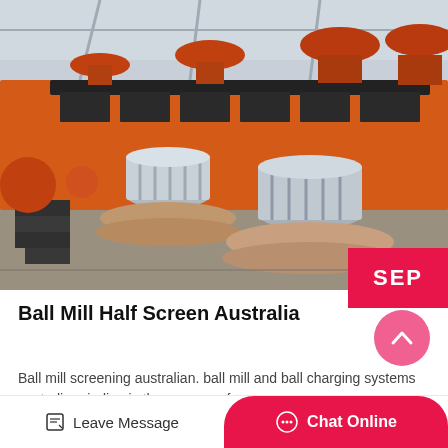[Figure (photo): Industrial factory floor showing large orange and silver mining/milling equipment — flotation machines with orange bodies and silver cylindrical components mounted on circular bases in the foreground, with orange machines and conveyor systems in the background.]
SEP
Ball Mill Half Screen Australia
Ball mill screening australian. ball mill and ball charging systems australia grinding is the process of
Leave Message
Chat Online